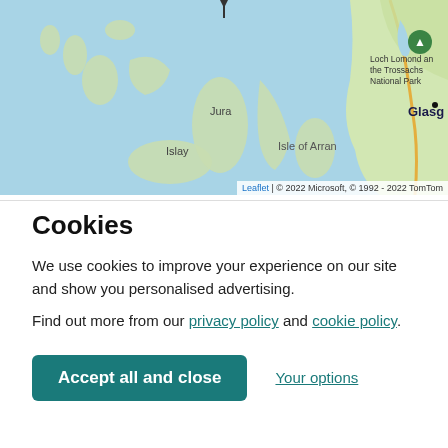[Figure (map): A map showing western Scotland including Jura, Islay, Isle of Arran, and part of Glasgow. Loch Lomond and the Trossachs National Park marked in upper right. Map attribution: Leaflet | © 2022 Microsoft, © 1992 - 2022 TomTom]
Cookies
We use cookies to improve your experience on our site and show you personalised advertising.
Find out more from our privacy policy and cookie policy.
Accept all and close
Your options